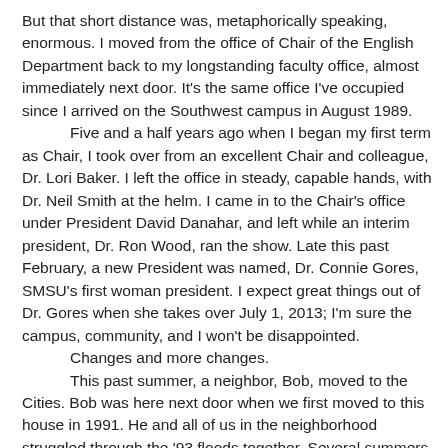But that short distance was, metaphorically speaking, enormous. I moved from the office of Chair of the English Department back to my longstanding faculty office, almost immediately next door. It's the same office I've occupied since I arrived on the Southwest campus in August 1989.

Five and a half years ago when I began my first term as Chair, I took over from an excellent Chair and colleague, Dr. Lori Baker. I left the office in steady, capable hands, with Dr. Neil Smith at the helm. I came in to the Chair's office under President David Danahar, and left while an interim president, Dr. Ron Wood, ran the show. Late this past February, a new President was named, Dr. Connie Gores, SMSU's first woman president. I expect great things out of Dr. Gores when she takes over July 1, 2013; I'm sure the campus, community, and I won't be disappointed.

Changes and more changes.

This past summer, a neighbor, Bob, moved to the Cities. Bob was here next door when we first moved to this house in 1991. He and all of us in the neighborhood struggled through the '93 floods together. Several summers later, we celebrated when the city finally redid the back easement and our main sewer lines, and tore up our lawns and